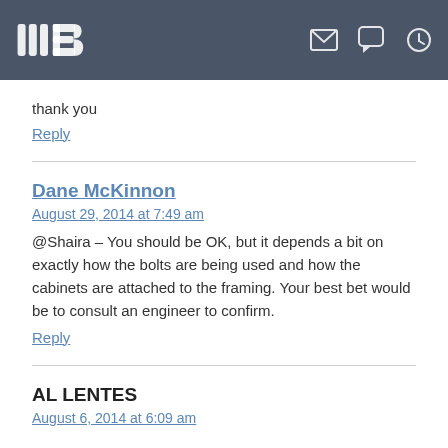thank you
Reply
Dane McKinnon
August 29, 2014 at 7:49 am
@Shaira – You should be OK, but it depends a bit on exactly how the bolts are being used and how the cabinets are attached to the framing. Your best bet would be to consult an engineer to confirm.
Reply
AL LENTES
August 6, 2014 at 6:09 am